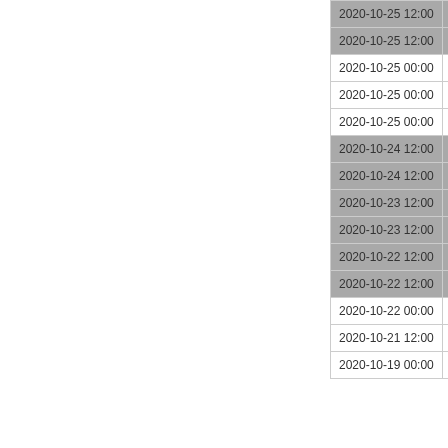| Date | Name |
| --- | --- |
| 2020-10-25 12:00 | Monmo… |
| 2020-10-25 12:00 | Monr… |
| 2020-10-25 00:00 |  |
| 2020-10-25 00:00 | S… |
| 2020-10-25 00:00 |  |
| 2020-10-24 12:00 | Surve… |
| 2020-10-24 12:00 | Surve… |
| 2020-10-23 12:00 | Surve… |
| 2020-10-23 12:00 | Surve… |
| 2020-10-22 12:00 | Surve… |
| 2020-10-22 12:00 | Surve… |
| 2020-10-22 00:00 |  |
| 2020-10-21 12:00 |  |
| 2020-10-19 00:00 | Cit… |